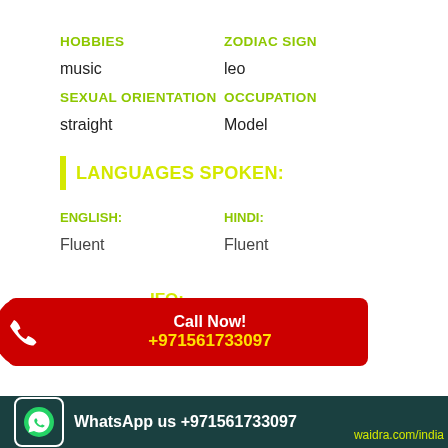HOBBIES
ZODIAC SIGN
music
leo
SEXUAL ORIENTATION
OCCUPATION
straight
Model
LANGUAGES SPOKEN:
ENGLISH:
HINDI:
Fluent
Fluent
CONTACT INFO:
City:
Abu dhabi
[Figure (infographic): Red Call Now banner with phone icon, text 'Call Now! +971561733097']
WhatsApp us +971561733097   waidra.com/india